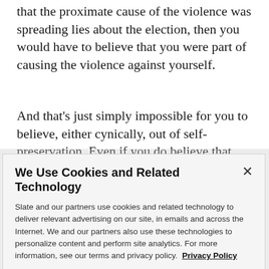that the proximate cause of the violence was spreading lies about the election, then you would have to believe that you were part of causing the violence against yourself.
And that's just simply impossible for you to believe, either cynically, out of self-preservation. Even if you do believe that somewhere in the core of your being, you can't admit that, because to admit Donald Trump's guilt
We Use Cookies and Related Technology
Slate and our partners use cookies and related technology to deliver relevant advertising on our site, in emails and across the Internet. We and our partners also use these technologies to personalize content and perform site analytics. For more information, see our terms and privacy policy.  Privacy Policy